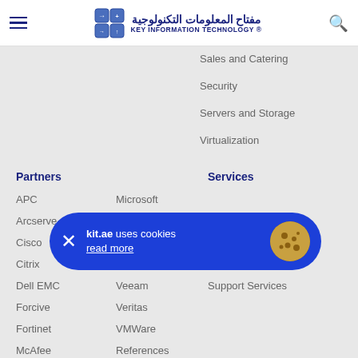مفتاح المعلومات التكنولوجية KEY INFORMATION TECHNOLOGY ®
Sales and Catering
Security
Servers and Storage
Virtualization
Partners
APC
Arcserve
Cisco
Citrix
Dell EMC
Forcive
Fortinet
McAfee
Microsoft
Oracle
SonicWall
Symantec
Veeam
Veritas
VMWare
References
Services
KIT Academy
Managed Services
Support Services
[Figure (other): Cookie consent banner: kit.ae uses cookies, read more]
Community
Blog